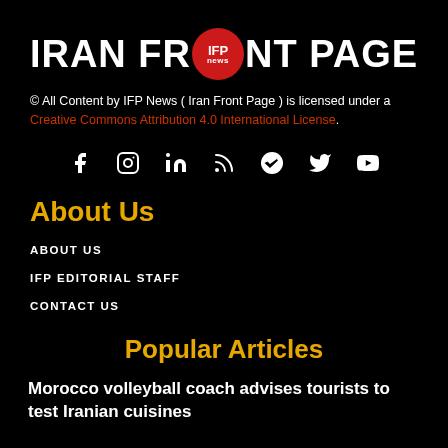[Figure (logo): Iran Front Page (IFP News) logo with red circular IFP News badge replacing the letter O]
© All Content by IFP News ( Iran Front Page ) is licensed under a Creative Commons Attribution 4.0 International License.
[Figure (infographic): Social media icons row: Facebook, Instagram, LinkedIn, RSS, Telegram, Twitter, YouTube]
About Us
ABOUT US
IFP EDITORIAL STAFF
CONTACT US
Popular Articles
Morocco volleyball coach advises tourists to test Iranian cuisines